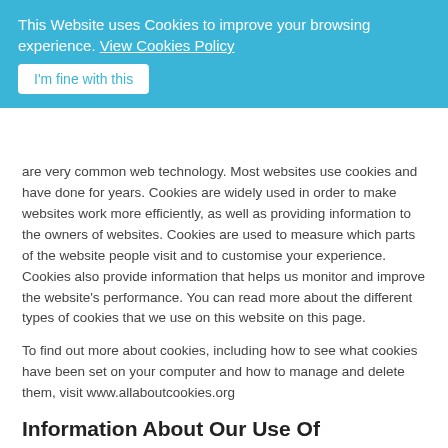This Website uses Cookies to improve your browsing experience. View Cookies Policy
I'm fine with this
are very common web technology. Most websites use cookies and have done for years. Cookies are widely used in order to make websites work more efficiently, as well as providing information to the owners of websites. Cookies are used to measure which parts of the website people visit and to customise your experience. Cookies also provide information that helps us monitor and improve the website's performance. You can read more about the different types of cookies that we use on this website on this page.
To find out more about cookies, including how to see what cookies have been set on your computer and how to manage and delete them, visit www.allaboutcookies.org
Information About Our Use Of